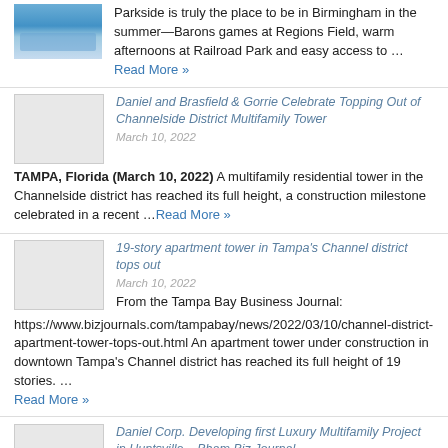Parkside is truly the place to be in Birmingham in the summer—Barons games at Regions Field, warm afternoons at Railroad Park and easy access to …Read More »
Daniel and Brasfield & Gorrie Celebrate Topping Out of Channelside District Multifamily Tower
March 10, 2022
TAMPA, Florida (March 10, 2022) A multifamily residential tower in the Channelside district has reached its full height, a construction milestone celebrated in a recent …Read More »
19-story apartment tower in Tampa's Channel district tops out
March 10, 2022
From the Tampa Bay Business Journal:
https://www.bizjournals.com/tampabay/news/2022/03/10/channel-district-apartment-tower-tops-out.html An apartment tower under construction in downtown Tampa's Channel district has reached its full height of 19 stories. … Read More »
Daniel Corp. Developing first Luxury Multifamily Project in Huntsville – Bham Biz Journal
May 20, 2021